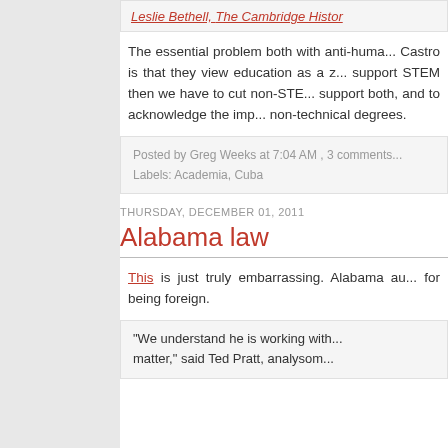Leslie Bethell, The Cambridge Histor...
The essential problem both with anti-huma... Castro is that they view education as a z... support STEM then we have to cut non-STE... support both, and to acknowledge the imp... non-technical degrees.
Posted by Greg Weeks at 7:04 AM , 3 comments... Labels: Academia, Cuba
THURSDAY, DECEMBER 01, 2011
Alabama law
This is just truly embarrassing. Alabama au... for being foreign.
"We understand he is working with... matter," said Ted Pratt, analysom...